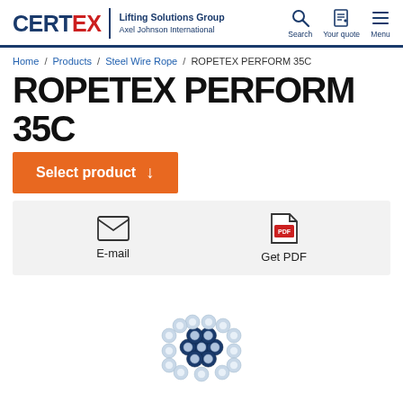CERTEX Lifting Solutions Group Axel Johnson International | Search | Your quote | Menu
Home / Products / Steel Wire Rope / ROPETEX PERFORM 35C
ROPETEX PERFORM 35C
Select product
[Figure (infographic): Action bar with email envelope icon labelled E-mail and PDF document icon labelled Get PDF]
[Figure (illustration): Cross-section illustration of ROPETEX PERFORM 35C steel wire rope showing hexagonal wire strands in blue and grey arrangement]